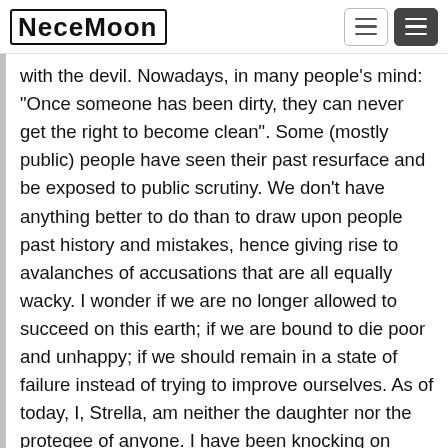NeceMoon
with the devil. Nowadays, in many people's mind: "Once someone has been dirty, they can never get the right to become clean". Some (mostly public) people have seen their past resurface and be exposed to public scrutiny. We don't have anything better to do than to draw upon people past history and mistakes, hence giving rise to avalanches of accusations that are all equally wacky. I wonder if we are no longer allowed to succeed on this earth; if we are bound to die poor and unhappy; if we should remain in a state of failure instead of trying to improve ourselves. As of today, I, Strella, am neither the daughter nor the protegee of anyone. I have been knocking on every door while hoping for help, but those doors